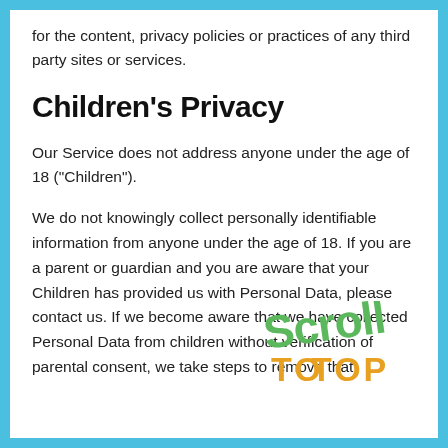We have no control over and assume no responsibility for the content, privacy policies or practices of any third party sites or services.
Children's Privacy
Our Service does not address anyone under the age of 18 (“Children”).
We do not knowingly collect personally identifiable information from anyone under the age of 18. If you are a parent or guardian and you are aware that your Children has provided us with Personal Data, please contact us. If we become aware that we have collected Personal Data from children without verification of parental consent, we take steps to remove that
[Figure (illustration): Decorative 'Scroll TO TOP' text overlay in colorful handwritten style letters (green, orange, red)]